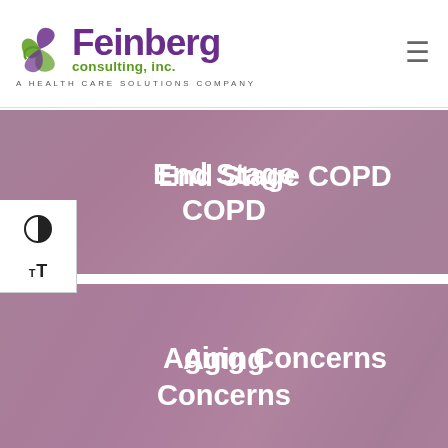[Figure (logo): Feinberg Consulting, Inc. logo with green swirl icon and purple text. Tagline: A HEALTH CARE SOLUTIONS COMPANY]
[Figure (photo): Banner image with overlay text 'End Stage COPD' over a medical scene photo]
[Figure (photo): Banner image with overlay text 'Aging Concerns' over a caregiving scene photo]
[Figure (photo): Banner image with overlay text 'Mental Health, Substance Abuse, Addiction' (partially visible) over a background]